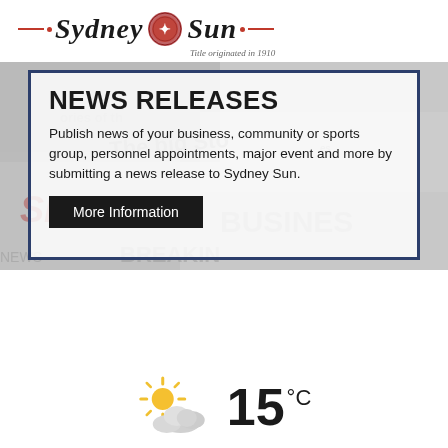[Figure (logo): Sydney Sun newspaper logo with red dashes, decorative emblem, italic serif text, and subtitle 'Title originated in 1910']
[Figure (infographic): News Releases banner with newspaper background image, bordered overlay box containing title 'NEWS RELEASES', description text, and 'More Information' button]
NEWS RELEASES
Publish news of your business, community or sports group, personnel appointments, major event and more by submitting a news release to Sydney Sun.
[Figure (infographic): Weather widget showing partly cloudy sun icon and temperature of 15°C]